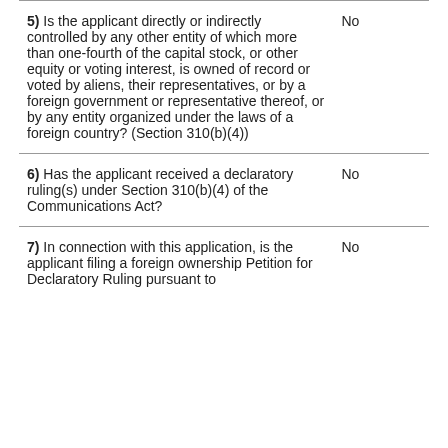| Question | Answer |
| --- | --- |
| 5) Is the applicant directly or indirectly controlled by any other entity of which more than one-fourth of the capital stock, or other equity or voting interest, is owned of record or voted by aliens, their representatives, or by a foreign government or representative thereof, or by any entity organized under the laws of a foreign country? (Section 310(b)(4)) | No |
| 6) Has the applicant received a declaratory ruling(s) under Section 310(b)(4) of the Communications Act? | No |
| 7) In connection with this application, is the applicant filing a foreign ownership Petition for Declaratory Ruling pursuant to | No |